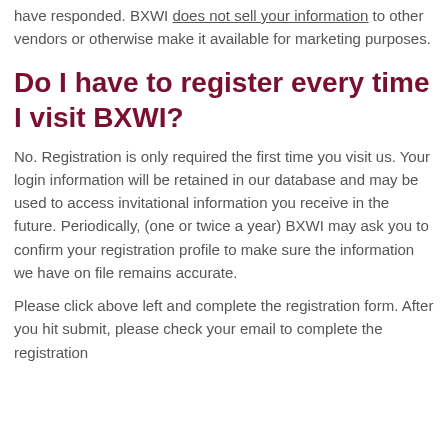have responded. BXWI does not sell your information to other vendors or otherwise make it available for marketing purposes.
Do I have to register every time I visit BXWI?
No. Registration is only required the first time you visit us. Your login information will be retained in our database and may be used to access invitational information you receive in the future. Periodically, (one or twice a year) BXWI may ask you to confirm your registration profile to make sure the information we have on file remains accurate.
Please click above left and complete the registration form. After you hit submit, please check your email to complete the registration